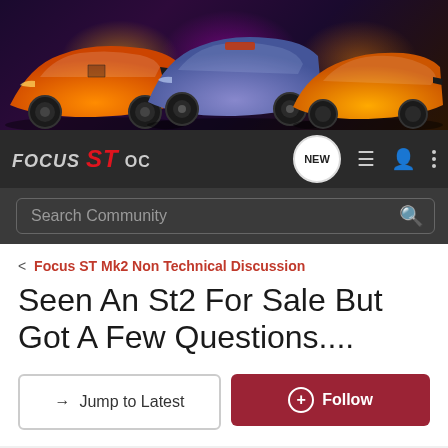[Figure (photo): Banner showing three Ford Focus ST cars (orange left, purple/blue center, orange right) against a dark background with neon lighting effects]
FOCUS ST OC
Search Community
< Focus ST Mk2 Non Technical Discussion
Seen An St2 For Sale But Got A Few Questions....
→ Jump to Latest
+ Follow
1 - 19 of 19 Posts